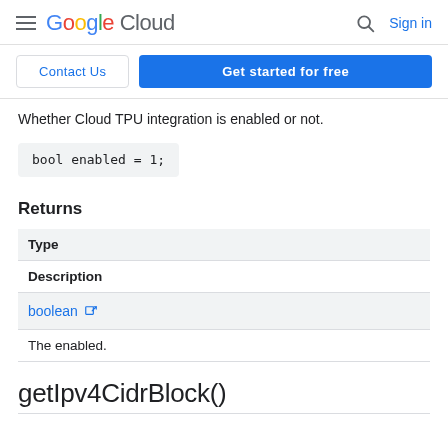Google Cloud | Sign in
Contact Us | Get started for free
Whether Cloud TPU integration is enabled or not.
Returns
| Type | Description |
| --- | --- |
| boolean ↗ | The enabled. |
getIpv4CidrBlock()